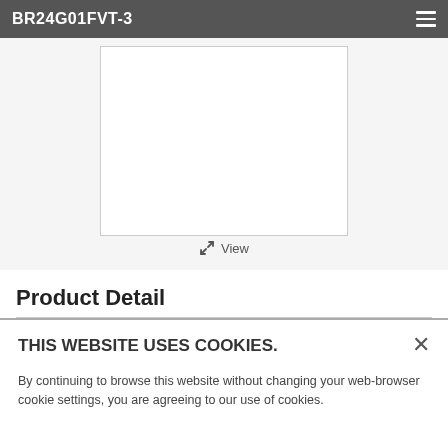BR24G01FVT-3
[Figure (photo): White product image area with a bordered white box representing a product image placeholder, with a 'View' link at the bottom center.]
Product Detail
THIS WEBSITE USES COOKIES.
By continuing to browse this website without changing your web-browser cookie settings, you are agreeing to our use of cookies.